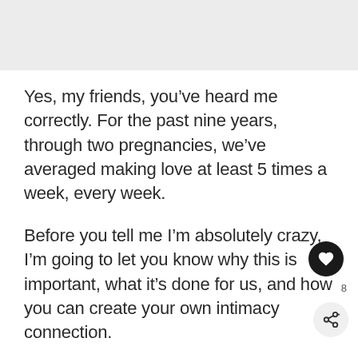[Figure (other): Light gray image area at the top of the page]
Yes, my friends, you’ve heard me correctly. For the past nine years, through two pregnancies, we’ve averaged making love at least 5 times a week, every week.
Before you tell me I’m absolutely crazy, I’m going to let you know why this is important, what it’s done for us, and how you can create your own intimacy connection.